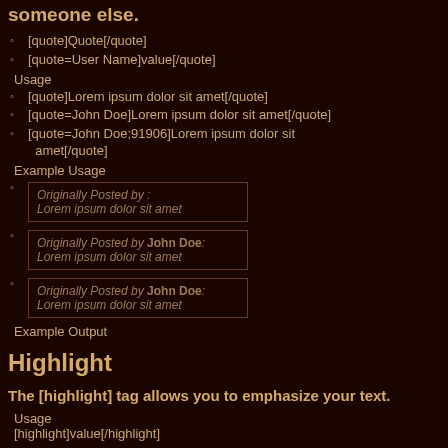someone else.
[quote]Quote[/quote]
[quote=User Name]value[/quote]
Usage
[quote]Lorem ipsum dolor sit amet[/quote]
[quote=John Doe]Lorem ipsum dolor sit amet[/quote]
[quote=John Doe;91906]Lorem ipsum dolor sit amet[/quote]
Example Usage
Originally Posted by : Lorem ipsum dolor sit amet
Originally Posted by John Doe: Lorem ipsum dolor sit amet
Originally Posted by John Doe: Lorem ipsum dolor sit amet
Example Output
Highlight
The [highlight] tag allows you to emphasize your text.
Usage
[highlight]value[/highlight]